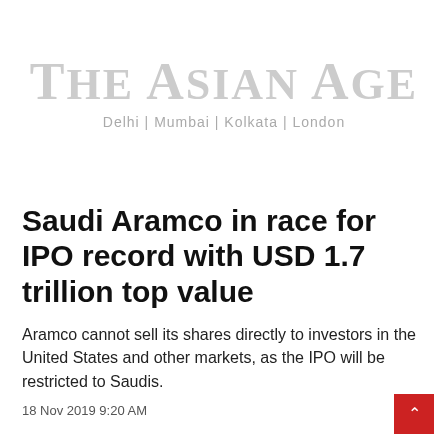The Asian Age
Delhi | Mumbai | Kolkata | London
Saudi Aramco in race for IPO record with USD 1.7 trillion top value
Aramco cannot sell its shares directly to investors in the United States and other markets, as the IPO will be restricted to Saudis.
18 Nov 2019 9:20 AM